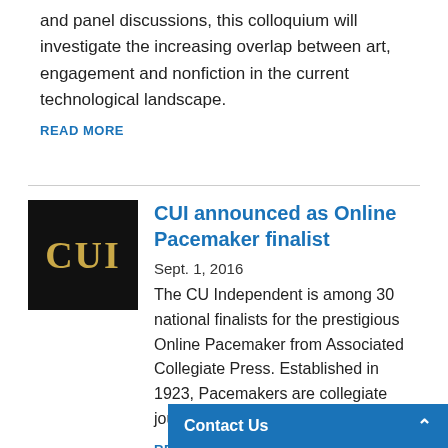and panel discussions, this colloquium will investigate the increasing overlap between art, engagement and nonfiction in the current technological landscape.
READ MORE
[Figure (logo): CUI logo — black background with gold bold serif text 'CUI']
CUI announced as Online Pacemaker finalist
Sept. 1, 2016
The CU Independent is among 30 national finalists for the prestigious Online Pacemaker from Associated Collegiate Press. Established in 1923, Pacemakers are collegiate journalism's preeminent award.
READ MORE
Contact Us